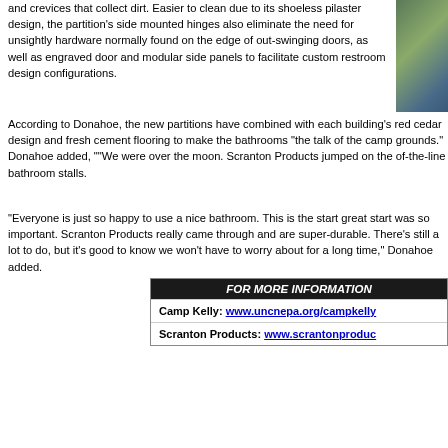and crevices that collect dirt. Easier to clean due to its shoeless pilaster design, the partition's side mounted hinges also eliminate the need for unsightly hardware normally found on the edge of out-swinging doors, as well as engraved door and modular side panels to facilitate custom restroom design configurations.
[Figure (photo): Photo of bathroom partition interior, partially cropped on right side of page]
According to Donahoe, the new partitions have combined with each building's red cedar design and fresh cement flooring to make the bathrooms "the talk of the camp grounds." Donahoe added, ""We were over the moon. Scranton Products jumped on the of-the-line bathroom stalls.
"Everyone is just so happy to use a nice bathroom. This is the start great start was so important. Scranton Products really came through and are super-durable. There's still a lot to do, but it's good to know we won't have to worry about for a long time," Donahoe added.
FOR MORE INFORMATION
Camp Kelly: www.uncnepa.org/campkelly
Scranton Products: www.scrantonproducts